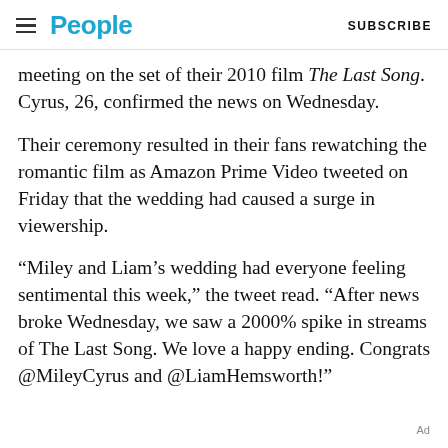People | SUBSCRIBE
meeting on the set of their 2010 film The Last Song. Cyrus, 26, confirmed the news on Wednesday.
Their ceremony resulted in their fans rewatching the romantic film as Amazon Prime Video tweeted on Friday that the wedding had caused a surge in viewership.
“Miley and Liam’s wedding had everyone feeling sentimental this week,” the tweet read. “After news broke Wednesday, we saw a 2000% spike in streams of The Last Song. We love a happy ending. Congrats @MileyCyrus and @LiamHemsworth!”